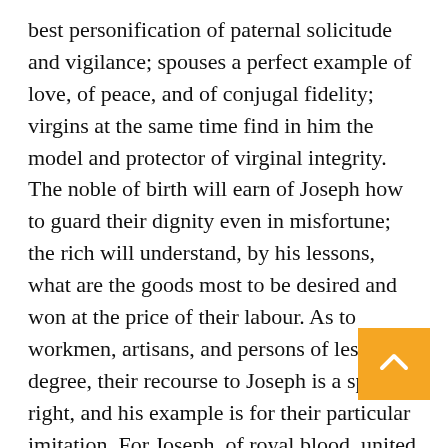best personification of paternal solicitude and vigilance; spouses a perfect example of love, of peace, and of conjugal fidelity; virgins at the same time find in him the model and protector of virginal integrity. The noble of birth will earn of Joseph how to guard their dignity even in misfortune; the rich will understand, by his lessons, what are the goods most to be desired and won at the price of their labour. As to workmen, artisans, and persons of lesser degree, their recourse to Joseph is a special right, and his example is for their particular imitation. For Joseph, of royal blood, united by marriage to the greatest and holiest of women, reputed the father of the Son of God, passed his life in labour, and won by the toil of the artisan the needful support of his family. It is, then, true that the con of the lowly has nothing shameful in it, and the w of the labourer is not only not dishonouring, but can, if